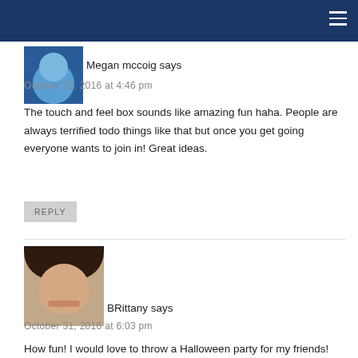Navigation bar
Megan mccoig says
October 31, 2016 at 4:46 pm
The touch and feel box sounds like amazing fun haha. People are always terrified todo things like that but once you get going everyone wants to join in! Great ideas.
REPLY
[Figure (photo): Avatar photo of BRittany, a woman with dark hair and a smile]
BRittany says
October 31, 2016 at 6:03 pm
How fun! I would love to throw a Halloween party for my friends! We did a family friendly one this year. An adults only one could be amazing!